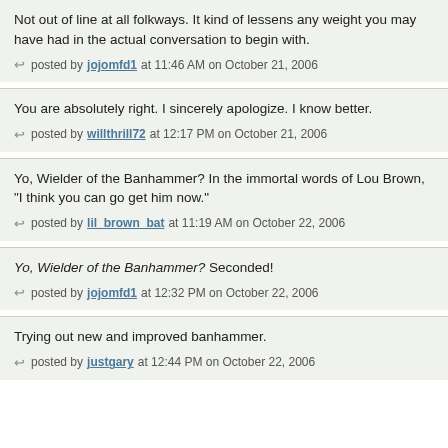Not out of line at all folkways. It kind of lessens any weight you may have had in the actual conversation to begin with.
posted by jojomfd1 at 11:46 AM on October 21, 2006
You are absolutely right. I sincerely apologize. I know better.
posted by willthrill72 at 12:17 PM on October 21, 2006
Yo, Wielder of the Banhammer? In the immortal words of Lou Brown, "I think you can go get him now."
posted by lil_brown_bat at 11:19 AM on October 22, 2006
Yo, Wielder of the Banhammer? Seconded!
posted by jojomfd1 at 12:32 PM on October 22, 2006
Trying out new and improved banhammer.
posted by justgary at 12:44 PM on October 22, 2006